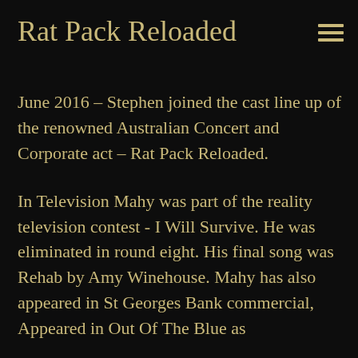Rat Pack Reloaded
June 2016 – Stephen joined the cast line up of the renowned Australian Concert and Corporate act – Rat Pack Reloaded.
In Television Mahy was part of the reality television contest - I Will Survive. He was eliminated in round eight. His final song was Rehab by Amy Winehouse. Mahy has also appeared in St Georges Bank commercial, Appeared in Out Of The Blue as